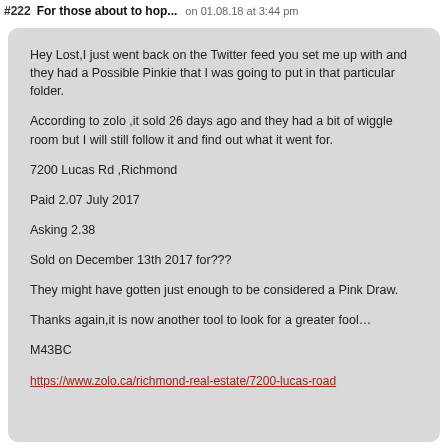#222 For those about to hop... on 01.08.18 at 3:44 pm
Hey Lost,I just went back on the Twitter feed you set me up with and they had a Possible Pinkie that I was going to put in that particular folder.

According to zolo ,it sold 26 days ago and they had a bit of wiggle room but I will still follow it and find out what it went for.

7200 Lucas Rd ,Richmond

Paid 2.07 July 2017

Asking 2.38

Sold on December 13th 2017 for???

They might have gotten just enough to be considered a Pink Draw.

Thanks again,it is now another tool to look for a greater fool…

M43BC

https://www.zolo.ca/richmond-real-estate/7200-lucas-road